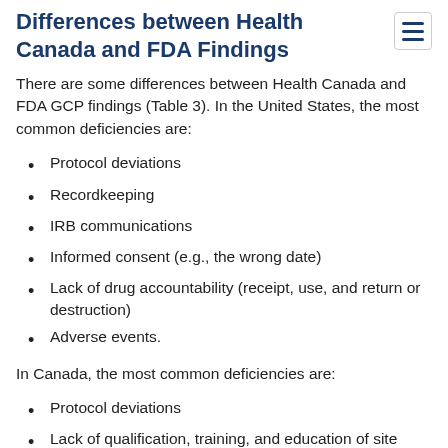Differences between Health Canada and FDA Findings
There are some differences between Health Canada and FDA GCP findings (Table 3). In the United States, the most common deficiencies are:
Protocol deviations
Recordkeeping
IRB communications
Informed consent (e.g., the wrong date)
Lack of drug accountability (receipt, use, and return or destruction)
Adverse events.
In Canada, the most common deficiencies are:
Protocol deviations
Lack of qualification, training, and education of site